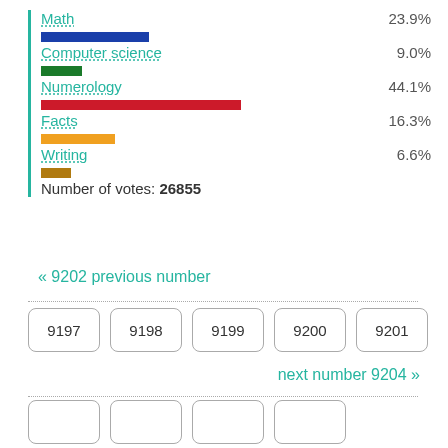[Figure (bar-chart): Poll results]
Number of votes: 26855
« 9202 previous number
9197
9198
9199
9200
9201
next number 9204 »